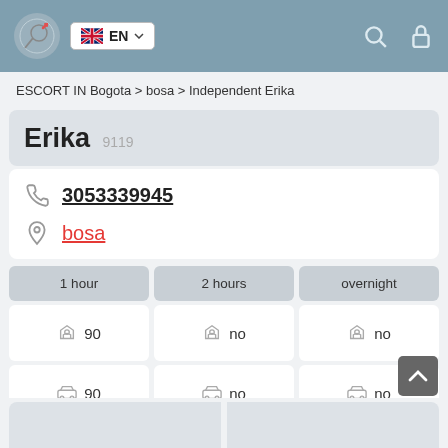EN — navigation header with logo, language selector, search and lock icons
ESCORT IN Bogota > bosa > Independent Erika
Erika 9119
3053339945
bosa
| 1 hour | 2 hours | overnight |
| --- | --- | --- |
| 90 (home) | no (home) | no (home) |
| 90 (car) | no (car) | no (car) |
[Figure (screenshot): Bottom strip showing partial content]